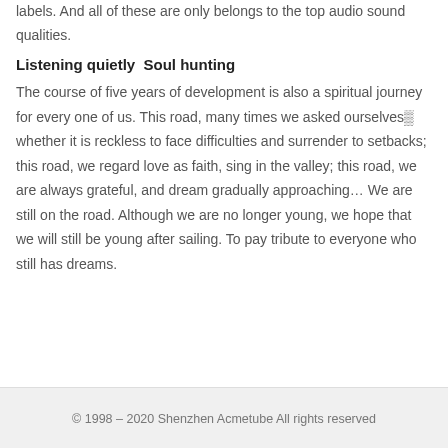labels. And all of these are only belongs to the top audio sound qualities.
Listening quietly  Soul hunting
The course of five years of development is also a spiritual journey for every one of us. This road, many times we asked ourselves— whether it is reckless to face difficulties and surrender to setbacks; this road, we regard love as faith, sing in the valley; this road, we are always grateful, and dream gradually approaching… We are still on the road. Although we are no longer young, we hope that we will still be young after sailing. To pay tribute to everyone who still has dreams.
© 1998 – 2020 Shenzhen Acmetube All rights reserved